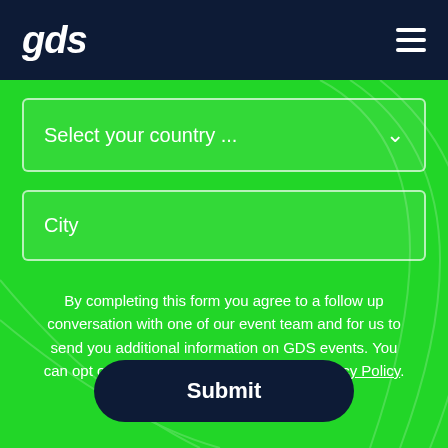gds
Select your country ...
City
By completing this form you agree to a follow up conversation with one of our event team and for us to send you additional information on GDS events. You can opt out at any time. Please see our Privacy Policy.
Submit